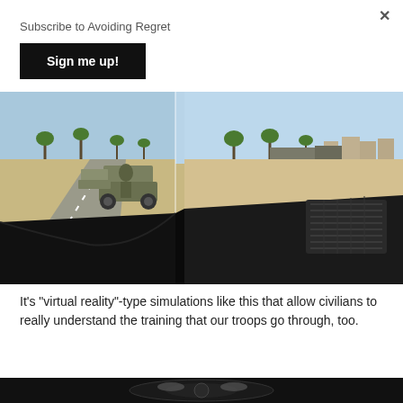Subscribe to Avoiding Regret
Sign me up!
[Figure (photo): Virtual reality simulation screenshot showing a military convoy on a desert road with palm trees in the background, viewed from inside a vehicle dashboard]
It's "virtual reality"-type simulations like this that allow civilians to really understand the training that our troops go through, too.
[Figure (photo): Partial view of a second image, dark background with some reflective surface visible at the bottom of the page]